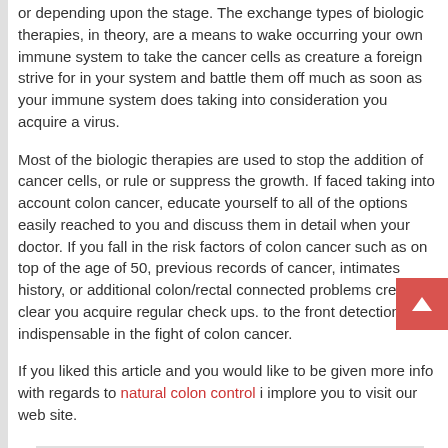or depending upon the stage. The exchange types of biologic therapies, in theory, are a means to wake occurring your own immune system to take the cancer cells as creature a foreign strive for in your system and battle them off much as soon as your immune system does taking into consideration you acquire a virus.
Most of the biologic therapies are used to stop the addition of cancer cells, or rule or suppress the growth. If faced taking into account colon cancer, educate yourself to all of the options easily reached to you and discuss them in detail when your doctor. If you fall in the risk factors of colon cancer such as on top of the age of 50, previous records of cancer, intimates history, or additional colon/rectal connected problems create clear you acquire regular check ups. to the front detection is indispensable in the fight of colon cancer.
If you liked this article and you would like to be given more info with regards to natural colon control i implore you to visit our web site.